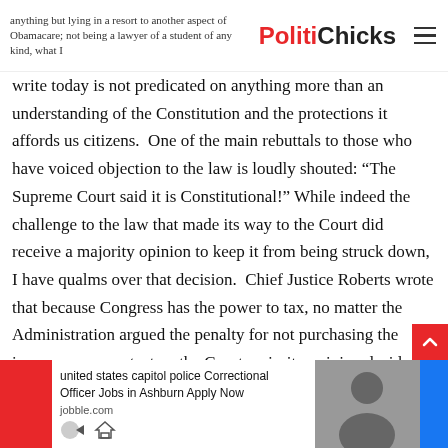PolitiChicks
anything but lying in a resort to another aspect of Obamacare; not being a lawyer of a student of any kind, what I write today is not predicated on anything more than an understanding of the Constitution and the protections it affords us citizens.  One of the main rebuttals to those who have voiced objection to the law is loudly shouted: “The Supreme Court said it is Constitutional!” While indeed the challenge to the law that made its way to the Court did receive a majority opinion to keep it from being struck down, I have qualms over that decision.  Chief Justice Roberts wrote that because Congress has the power to tax, no matter the Administration argued the penalty for not purchasing the insurance was not a tax, the Court majority opinion decided it actually is, therefore passes Constitutional muster.  Hm.  My problem with this particular decision is that while true, the Constitution does give Congress the power to tax under Article I, Section 8, the
[Figure (other): Advertisement bar at bottom: red block on left, text 'united states capitol police Correctional Officer Jobs in Ashburn Apply Now jobble.com', photo of person on right, blue block on right]